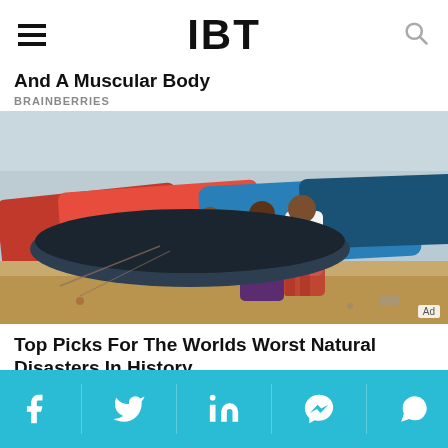IBT
And A Muscular Body
BRAINBERRIES
[Figure (photo): People pushing boats on a sandy shore with other colorful fishing boats in background, showing storm/disaster scene]
Top Picks For The Worlds Worst Natural Disasters In History
BRAINBERRIES
Social share bar with Facebook, Twitter, LinkedIn, Messenger, WhatsApp icons